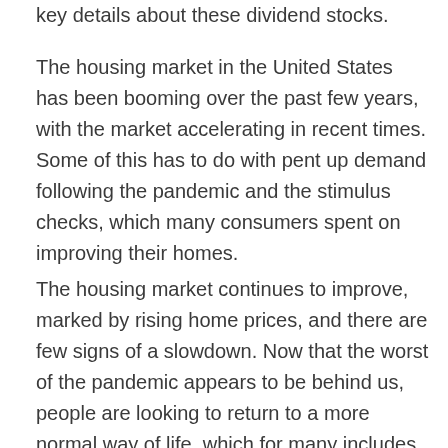key details about these dividend stocks.
The housing market in the United States has been booming over the past few years, with the market accelerating in recent times. Some of this has to do with pent up demand following the pandemic and the stimulus checks, which many consumers spent on improving their homes.
The housing market continues to improve, marked by rising home prices, and there are few signs of a slowdown. Now that the worst of the pandemic appears to be behind us, people are looking to return to a more normal way of life, which for many includes buying a new home. Existing home sales are showing immense growth as homes put up for sale tend to spend an average of a month on the market and receive multiple offers as opposed to previous conditions of 60 to 120 days...